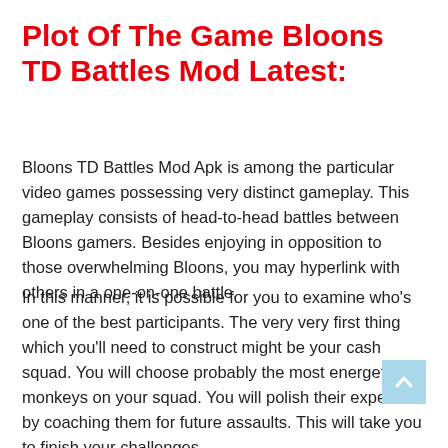Plot Of The Game Bloons TD Battles Mod Latest:
Bloons TD Battles Mod Apk is among the particular video games possessing very distinct gameplay. This gameplay consists of head-to-head battles between Bloons gamers. Besides enjoying in opposition to those overwhelming Bloons, you may hyperlink with others in a one-on-one battle.
In this manner, it is possible for you to examine who's one of the best participants. The very very first thing which you'll need to construct might be your cash squad. You will choose probably the most energetic monkeys on your squad. You will polish their expertise by coaching them for future assaults. This will take you to finish your challenges.